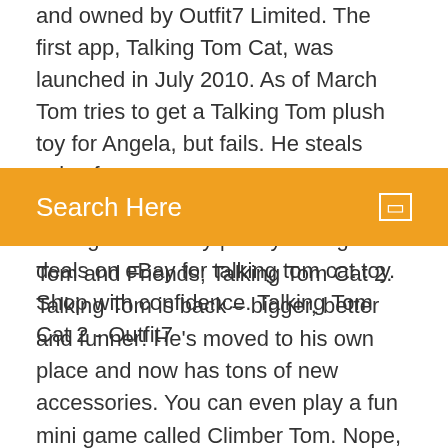and owned by Outfit7 Limited. The first app, Talking Tom Cat, was launched in July 2010. As of March Tom tries to get a Talking Tom plush toy for Angela, but fails. He steals coins from
talking tom cat toy | eBay Find great deals on eBay for talking tom cat toy. Shop with confidence. Talking Tom Cat 2 - Outfit7
Search Here
Tom and Friends; Talking Tom Cat 2. Talking Tom is back – bigger, better and funner! He's moved to his own place and now has tons of new accessories. You can even play a fun mini game called Climber Tom. Nope, he's not alone, his neighbor Ben is here to tease him Talking Tom Cat Games - Play free online Launching toy, you will be asked whether to allow you access to your camera and microphone. If so, just click on "OK" or "allow". If your computer does not have these gadgets, do not worry, because Tom and Ben can communicate without them.